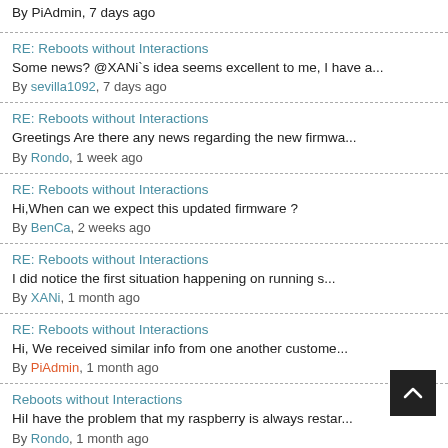RE: Reboots without Interactions
Some news? @XANi`s idea seems excellent to me, I have a...
By sevilla1092, 7 days ago
RE: Reboots without Interactions
Greetings Are there any news regarding the new firmwa...
By Rondo, 1 week ago
RE: Reboots without Interactions
Hi,When can we expect this updated firmware ?
By BenCa, 2 weeks ago
RE: Reboots without Interactions
I did notice the first situation happening on running s...
By XANi, 1 month ago
RE: Reboots without Interactions
Hi, We received similar info from one another custome...
By PiAdmin, 1 month ago
Reboots without Interactions
HiI have the problem that my raspberry is always restar...
By Rondo, 1 month ago